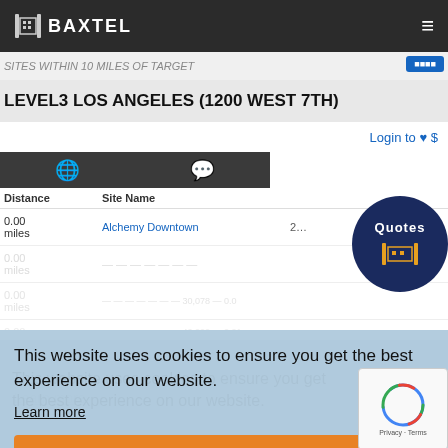BAXTEL
LEVEL3 LOS ANGELES (1200 WEST 7TH)
Login to ♥ $
| Distance | Site Name |
| --- | --- |
| 0.00 miles | Alchemy Downtown |
| 0.01 | VRLS LA1 |
This website uses cookies to ensure you get the best experience on our website.
Learn more
Okay